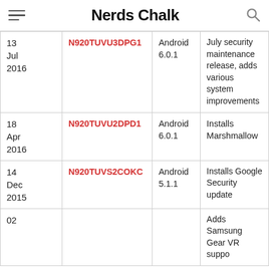Nerds Chalk
| Date | Build | Android | Notes |
| --- | --- | --- | --- |
| 13 Jul 2016 | N920TUVU3DPG1 | Android 6.0.1 | July security maintenance release, adds various system improvements |
| 18 Apr 2016 | N920TUVU2DPD1 | Android 6.0.1 | Installs Marshmallow |
| 14 Dec 2015 | N920TUVS2COKC | Android 5.1.1 | Installs Google Security update |
| 02 |  |  | Adds Samsung Gear VR suppo... |